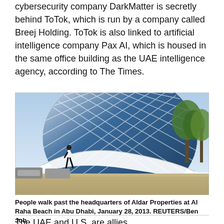cybersecurity company DarkMatter is secretly behind ToTok, which is run by a company called Breej Holding. ToTok is also linked to artificial intelligence company Pax AI, which is housed in the same office building as the UAE intelligence agency, according to The Times.
[Figure (photo): A person walks past the large spherical glass headquarters building of Aldar Properties at Al Raha Beach in Abu Dhabi. The building has a distinctive geodesic dome-like glass facade with diamond-shaped panels and curved white structural elements at the base. Trees are visible to the right.]
People walk past the headquarters of Aldar Properties at Al Raha Beach in Abu Dhabi, January 28, 2013. REUTERS/Ben Job
The UAE and U.S. are allies.